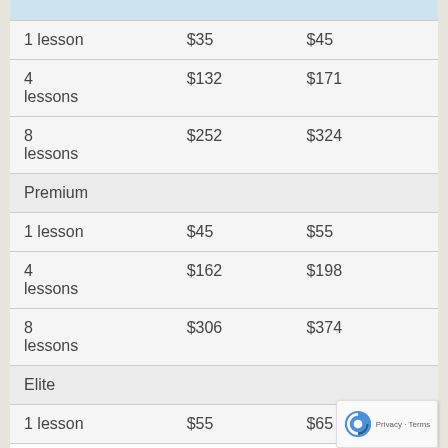|  |  |  |
| --- | --- | --- |
| 1 lesson | $35 | $45 |
| 4 lessons | $132 | $171 |
| 8 lessons | $252 | $324 |
| Premium |  |  |
| 1 lesson | $45 | $55 |
| 4 lessons | $162 | $198 |
| 8 lessons | $306 | $374 |
| Elite |  |  |
| 1 lesson | $55 | $65 |